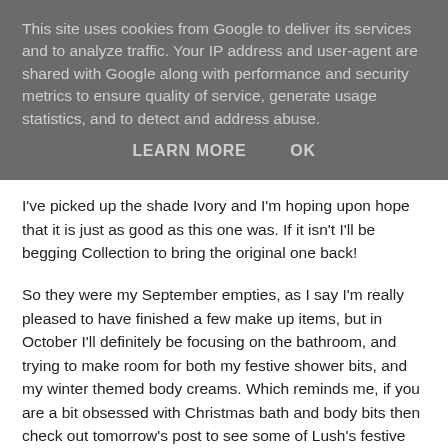This site uses cookies from Google to deliver its services and to analyze traffic. Your IP address and user-agent are shared with Google along with performance and security metrics to ensure quality of service, generate usage statistics, and to detect and address abuse.
LEARN MORE    OK
I've picked up the shade Ivory and I'm hoping upon hope that it is just as good as this one was. If it isn't I'll be begging Collection to bring the original one back!
So they were my September empties, as I say I'm really pleased to have finished a few make up items, but in October I'll definitely be focusing on the bathroom, and trying to make room for both my festive shower bits, and my winter themed body creams. Which reminds me, if you are a bit obsessed with Christmas bath and body bits then check out tomorrow's post to see some of Lush's festive offerings x If you have any questions on any of the items that I've mentioned then please leave me a comment below x